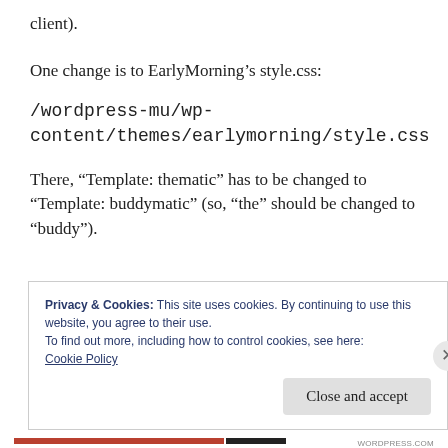client).
One change is to EarlyMorning’s style.css:
/wordpress-mu/wp-content/themes/earlymorning/style.css
There, “Template: thematic” has to be changed to “Template: buddymatic” (so, “the” should be changed to “buddy”).
Privacy & Cookies: This site uses cookies. By continuing to use this website, you agree to their use.
To find out more, including how to control cookies, see here:
Cookie Policy
Close and accept